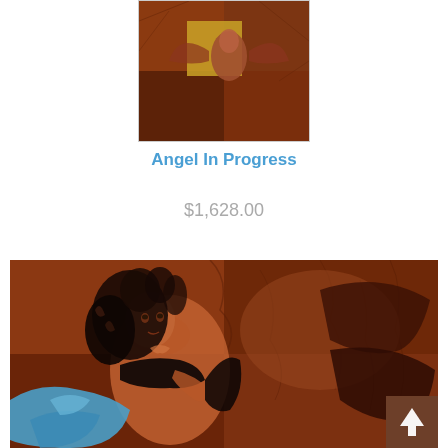[Figure (illustration): Thumbnail image of artwork 'Angel In Progress' showing a back view of a nude figure with wings against a copper/brown textured background with a gold square element]
Angel In Progress
$1,628.00
[Figure (illustration): Large detailed painting of a woman with curly dark hair, semi-clothed in black top with blue/teal fabric at bottom, set against a copper and brown textured background with large dark wings visible]
[Figure (other): Back to top button - small square thumbnail of the painting with an upward arrow]